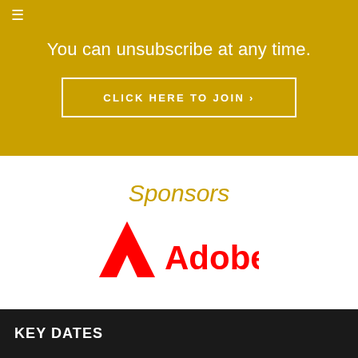≡
You can unsubscribe at any time.
CLICK HERE TO JOIN ›
Sponsors
[Figure (logo): Adobe logo — red stylized A mark followed by red 'Adobe' wordmark in bold sans-serif]
KEY DATES